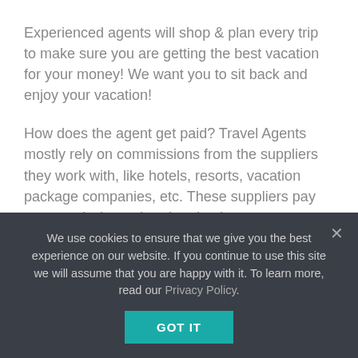Experienced agents will shop & plan every trip to make sure you are getting the best vacation for your money! We want you to sit back and enjoy your vacation!
How does the agent get paid? Travel Agents mostly rely on commissions from the suppliers they work with, like hotels, resorts, vacation package companies, etc. These suppliers pay us commission rather than having to pay someone to answer an 800 number. We provide a one point of contact in case anything goes wrong, which when traveling, it can. (See the year 2020).
Bottom line- we do all the work, and at NO extra cost to you!
Plus, we'll be here before, during, and after your trip to
We use cookies to ensure that we give you the best experience on our website. If you continue to use this site we will assume that you are happy with it. To learn more, read our Privacy Policy.